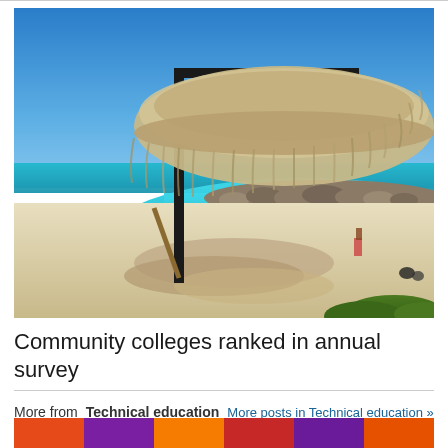[Figure (photo): Beach scene with a thatched palapa umbrella on a metal pole, white sandy beach, turquoise lagoon water, rocky breakwater in background under a bright blue sky.]
Community colleges ranked in annual survey
More from Technical education  More posts in Technical education »